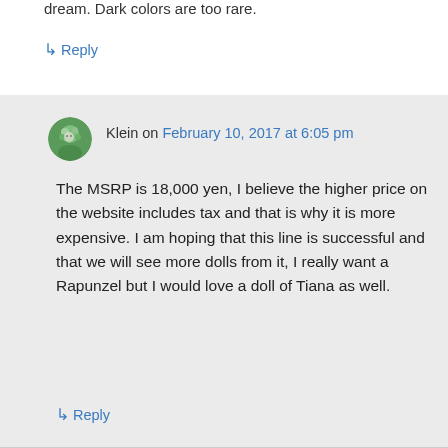dream. Dark colors are too rare.
↳ Reply
Klein on February 10, 2017 at 6:05 pm
The MSRP is 18,000 yen, I believe the higher price on the website includes tax and that is why it is more expensive. I am hoping that this line is successful and that we will see more dolls from it, I really want a Rapunzel but I would love a doll of Tiana as well.
↳ Reply